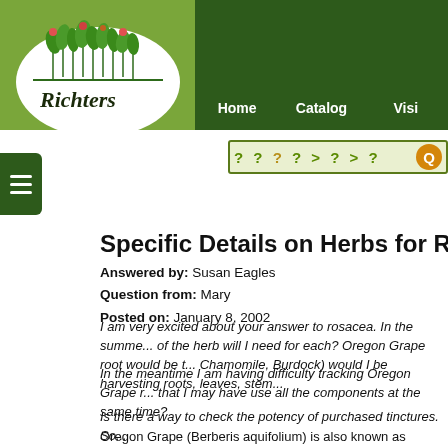[Figure (logo): Richters herb company logo with illustrated herbs and script text]
Home   Catalog   Visi...
Specific Details on Herbs for Rosa...
Answered by: Susan Eagles
Question from: Mary
Posted on: January 8, 2002
I am very excited about your answer to rosacea. In the summe... of the herb will I need for each? Oregon Grape root would be t... Chamomile, Burdock) would I be harvesting roots, leaves, stem...
In the meantime I am having difficulty tracking Oregon Grape r... that I may have use all the components at the same time?
Is there a way to check the potency of purchased tinctures. So...
Oregon Grape (Berberis aquifolium) is also known as Mountain... western coast of the U.S. and southern Canada. It is specific f...